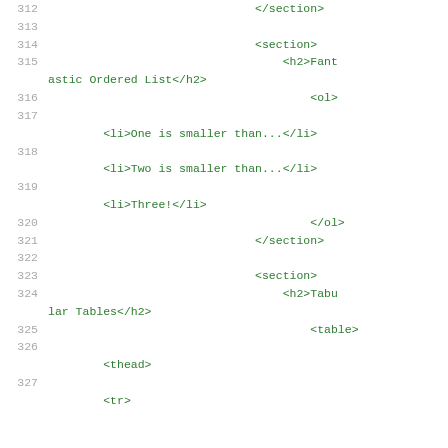312    </section>
313
314                                   <section>
315                                       <h2>Fantastic Ordered List</h2>
316                                           <ol>
317
318         <li>One is smaller than...</li>
318         <li>Two is smaller than...</li>
319         <li>Three!</li>
320                                           </ol>
321                                   </section>
322
323                                   <section>
324                                       <h2>Tabular Tables</h2>
325                                           <table>
326
326         <thead>
327
327         <tr>